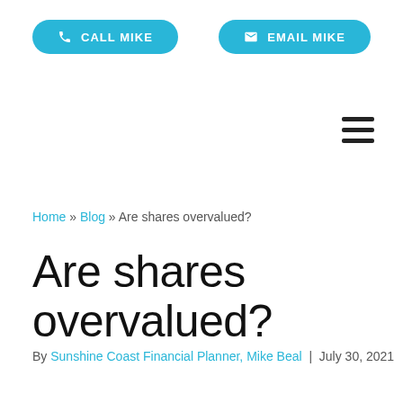CALL MIKE  |  EMAIL MIKE
Home » Blog » Are shares overvalued?
Are shares overvalued?
By Sunshine Coast Financial Planner, Mike Beal | July 30, 2021